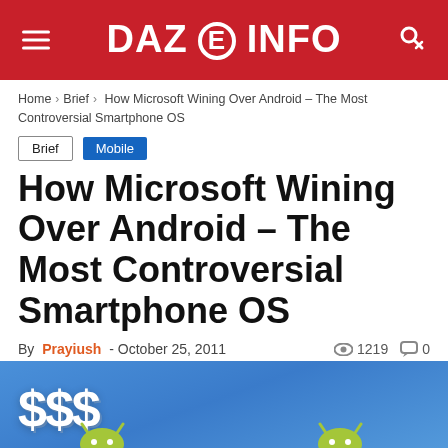DAZEINFO
Home › Brief › How Microsoft Wining Over Android – The Most Controversial Smartphone OS
Brief
Mobile
How Microsoft Wining Over Android – The Most Controversial Smartphone OS
By Prayiush - October 25, 2011   1219   0
[Figure (illustration): Blue background with white dollar signs ($$$ ) and Android robot figures visible at the bottom]